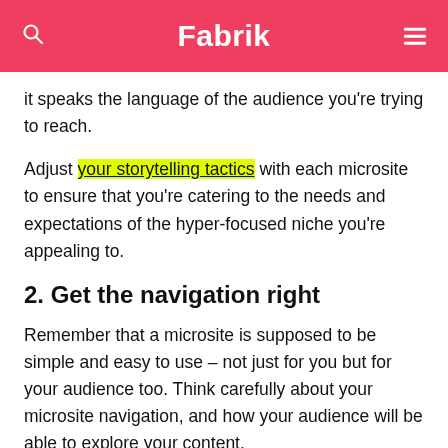Fabrik
it speaks the language of the audience you're trying to reach.
Adjust your storytelling tactics with each microsite to ensure that you're catering to the needs and expectations of the hyper-focused niche you're appealing to.
2. Get the navigation right
Remember that a microsite is supposed to be simple and easy to use – not just for you but for your audience too. Think carefully about your microsite navigation, and how your audience will be able to explore your content.
Remember that people might be visiting your microsite from their smartphones as well as computer desktops.